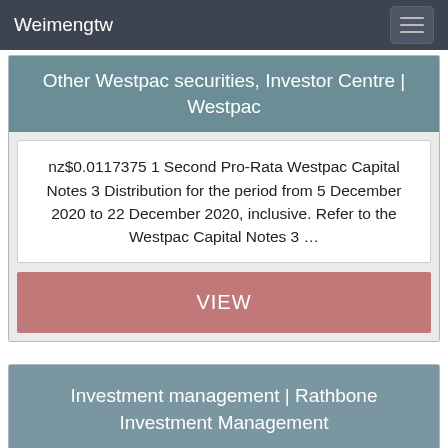Weimengtw
Other Westpac securities, Investor Centre | Westpac
nz$0.0117375 1 Second Pro-Rata Westpac Capital Notes 3 Distribution for the period from 5 December 2020 to 22 December 2020, inclusive. Refer to the Westpac Capital Notes 3 …
VIEW
Investment management | Rathbone Investment Management